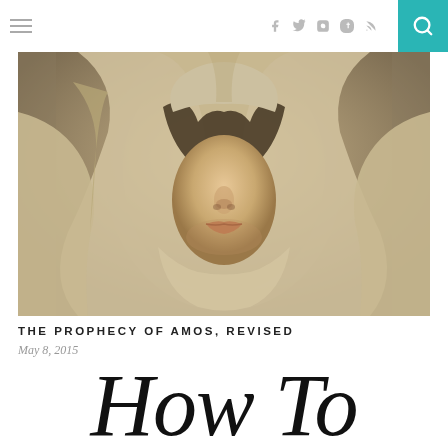≡  f  ✦  ☁  t  )) 🔍
[Figure (photo): Close-up painting/illustration of a woman with her face partially covered by draped fabric/cloth in beige and tan tones, eyes obscured, only nose and lips visible, styled like classical art.]
THE PROPHECY OF AMOS, REVISED
May 8, 2015
How To